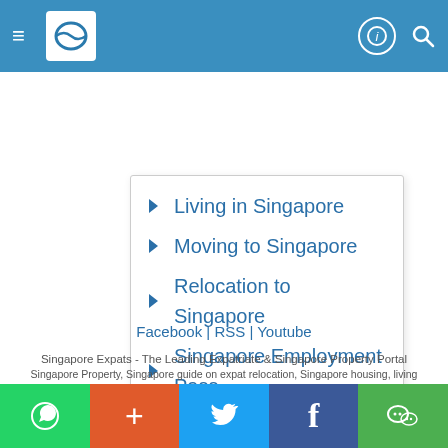Singapore Expats navigation bar
Living in Singapore
Moving to Singapore
Relocation to Singapore
Singapore Employment Pass
Singapore Immigration
Singapore Movers
Singapore PR Application
Staying in Singapore
Tenancy Agreement
Facebook | RSS | Youtube
Singapore Expats - The Leading Expatriate & Singapore Property Portal
Singapore Property, Singapore guide on expat relocation, Singapore housing, living
WhatsApp | + | Twitter | Facebook | WeChat